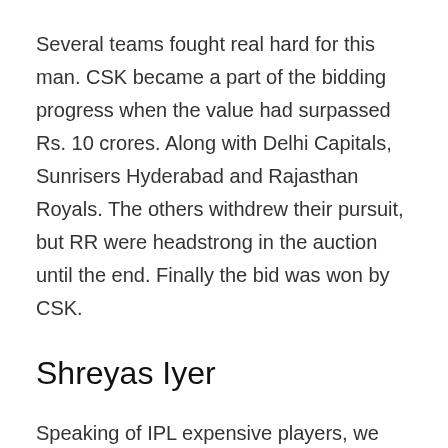Several teams fought real hard for this man. CSK became a part of the bidding progress when the value had surpassed Rs. 10 crores. Along with Delhi Capitals, Sunrisers Hyderabad and Rajasthan Royals. The others withdrew their pursuit, but RR were headstrong in the auction until the end. Finally the bid was won by CSK.
Shreyas Iyer
Speaking of IPL expensive players, we need to mention Shreyas Iyer. He is a phenomenal batsman and an even better captain. Iyer was bought by Kolkata Knight Riders at a hefty cost of Rs. 12.25